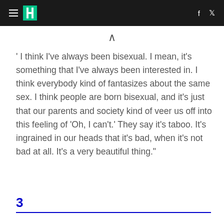HuffPost
' I think I've always been bisexual. I mean, it's something that I've always been interested in. I think everybody kind of fantasizes about the same sex. I think people are born bisexual, and it's just that our parents and society kind of veer us off into this feeling of 'Oh, I can't.' They say it's taboo. It's ingrained in our heads that it's bad, when it's not bad at all. It's a very beautiful thing."
3